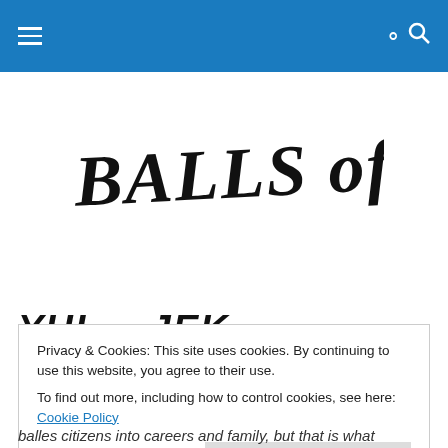[Figure (logo): Handwritten style logo reading 'BALLS OF RICE' in black ink on white background]
YUL   JEK
Privacy & Cookies: This site uses cookies. By continuing to use this website, you agree to their use.
To find out more, including how to control cookies, see here: Cookie Policy
balles citizens into careers and family, but that is what